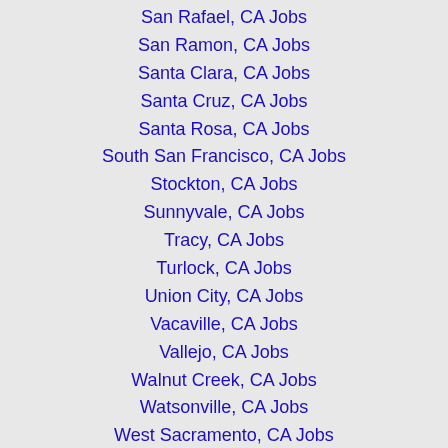San Rafael, CA Jobs
San Ramon, CA Jobs
Santa Clara, CA Jobs
Santa Cruz, CA Jobs
Santa Rosa, CA Jobs
South San Francisco, CA Jobs
Stockton, CA Jobs
Sunnyvale, CA Jobs
Tracy, CA Jobs
Turlock, CA Jobs
Union City, CA Jobs
Vacaville, CA Jobs
Vallejo, CA Jobs
Walnut Creek, CA Jobs
Watsonville, CA Jobs
West Sacramento, CA Jobs
Woodland, CA Jobs